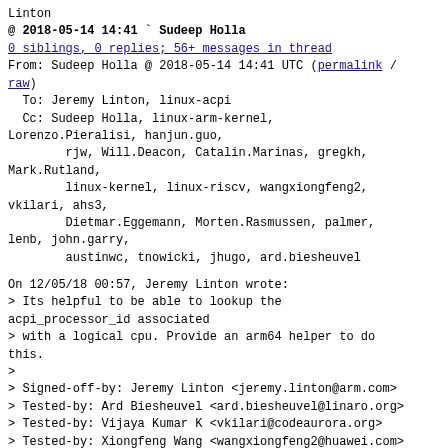Linton
@ 2018-05-14 14:41  `  Sudeep Holla
0 siblings, 0 replies; 56+ messages in thread
From: Sudeep Holla @ 2018-05-14 14:41 UTC (permalink / raw)
  To: Jeremy Linton, linux-acpi
  Cc: Sudeep Holla, linux-arm-kernel,
Lorenzo.Pieralisi, hanjun.guo,
        rjw, Will.Deacon, Catalin.Marinas, gregkh,
Mark.Rutland,
        linux-kernel, linux-riscv, wangxiongfeng2,
vkilari, ahs3,
        Dietmar.Eggemann, Morten.Rasmussen, palmer,
lenb, john.garry,
        austinwc, tnowicki, jhugo, ard.biesheuvel
On 12/05/18 00:57, Jeremy Linton wrote:
> Its helpful to be able to lookup the acpi_processor_id associated
> with a logical cpu. Provide an arm64 helper to do this.
>
> Signed-off-by: Jeremy Linton <jeremy.linton@arm.com>
> Tested-by: Ard Biesheuvel <ard.biesheuvel@linaro.org>
> Tested-by: Vijaya Kumar K <vkilari@codeaurora.org>
> Tested-by: Xiongfeng Wang <wangxiongfeng2@huawei.com>
> Tested-by: Tomasz Nowicki <Tomasz.Nowicki@cavium.com>
> Acked-by: Ard Biesheuvel <ard.biesheuvel@linaro.org>